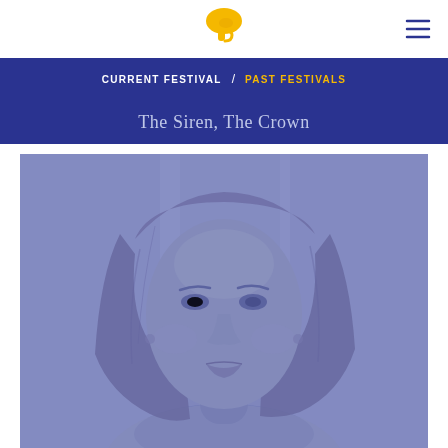Logo and navigation header
CURRENT FESTIVAL / PAST FESTIVALS
The Siren, The Crown
[Figure (photo): Blue-tinted portrait photo of a woman with medium-length wavy brown/blonde hair, looking slightly to the side with a gentle expression, wearing a light-colored top, photographed against a blurred indoor background.]